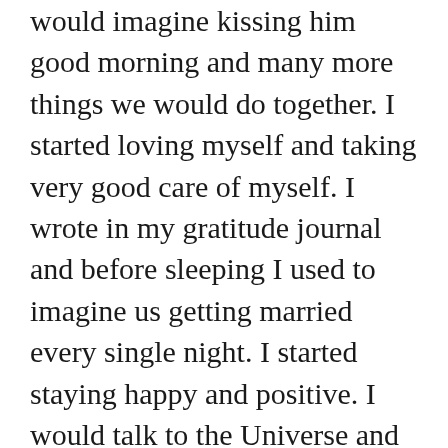would imagine kissing him good morning and many more things we would do together. I started loving myself and taking very good care of myself. I wrote in my gratitude journal and before sleeping I used to imagine us getting married every single night. I started staying happy and positive. I would talk to the Universe and to myself in the mirror. I fell in love with him all over again in my heart and all negativity vanished. There was no longer any hurt, negativity or sadness in my life. My life became magical. Yes, there were days when I used to breakdown and cry myself to sleep but I never lost hope.

Then it happened, The Magic of The Secret